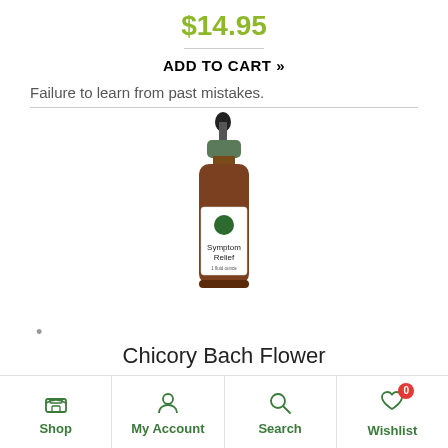$14.95
ADD TO CART »
Failure to learn from past mistakes.
[Figure (photo): Amber dropper bottle with white label reading 'Symptom Relief']
Chicory Bach Flower
$14.95
Shop  My Account  Search  Wishlist